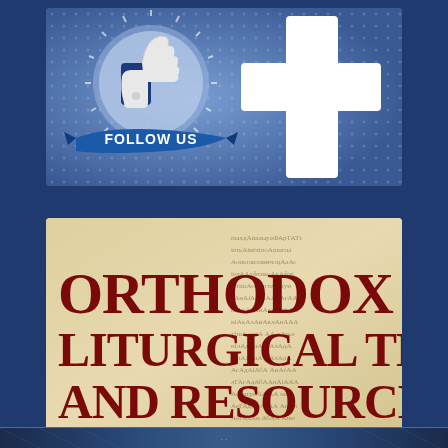[Figure (illustration): Facebook 'Follow Us' promotional banner with thumbs up like icon in a circle with 'FOLLOW US' ribbon text, and a large Facebook 'f' cross logo on the right, all on a blue dotted background]
[Figure (illustration): Orthodox Liturgical Texts and Resources banner with dark red medieval-style text on an aged parchment background with Cyrillic manuscript text visible]